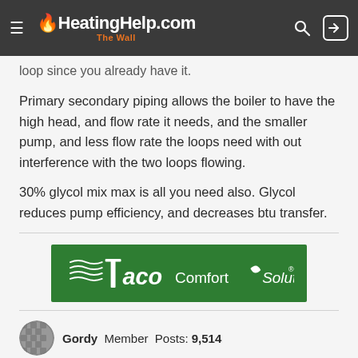HeatingHelp.com The Wall
loop since you already have it.
Primary secondary piping allows the boiler to have the high head, and flow rate it needs, and the smaller pump, and less flow rate the loops need with out interference with the two loops flowing.
30% glycol mix max is all you need also. Glycol reduces pump efficiency, and decreases btu transfer.
[Figure (logo): Taco Comfort Solutions advertisement banner, green background with white logo text]
Gordy  Member  Posts: 9,514